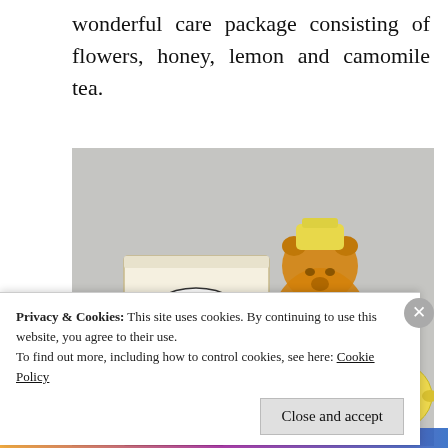wonderful care package consisting of flowers, honey, lemon and camomile tea.
[Figure (photo): Photo of a Twinings Herbal Tea box (Camomile, Honey & Vanilla), a bear-shaped bottle of Pure Honey with yellow lid, and a lemon, arranged on a light grey surface.]
Privacy & Cookies: This site uses cookies. By continuing to use this website, you agree to their use.
To find out more, including how to control cookies, see here: Cookie Policy
Close and accept